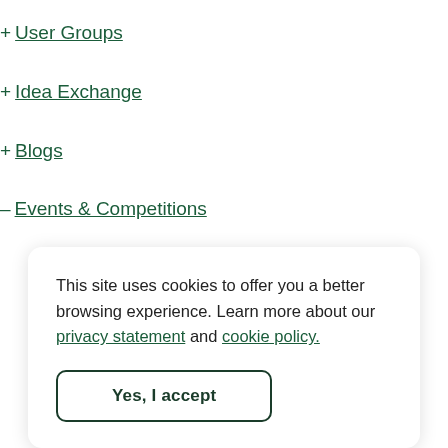+ User Groups
+ Idea Exchange
+ Blogs
– Events & Competitions
– FIRST
+ Support
This site uses cookies to offer you a better browsing experience. Learn more about our privacy statement and cookie policy.
Yes, I accept